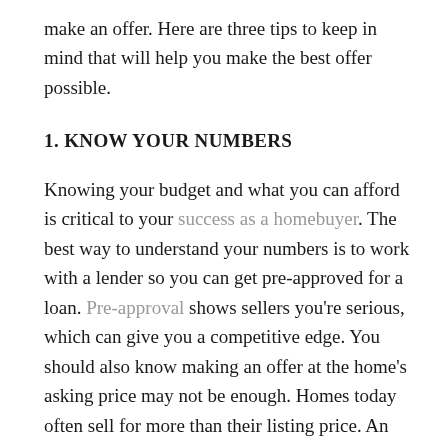make an offer. Here are three tips to keep in mind that will help you make the best offer possible.
1. KNOW YOUR NUMBERS
Knowing your budget and what you can afford is critical to your success as a homebuyer. The best way to understand your numbers is to work with a lender so you can get pre-approved for a loan. Pre-approval shows sellers you're serious, which can give you a competitive edge. You should also know making an offer at the home's asking price may not be enough. Homes today often sell for more than their listing price. An agent can help you understand the